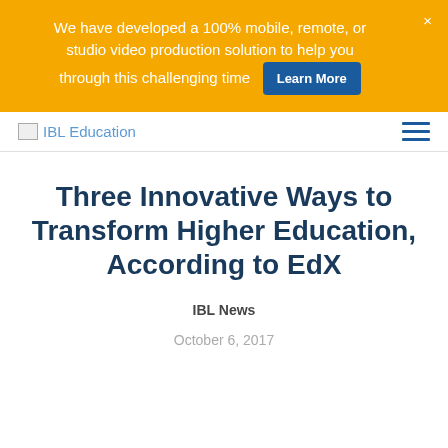We have developed a 100% mobile, remote, or studio video production solution to help you through this challenging time  Learn More  ×
IBL Education
Three Innovative Ways to Transform Higher Education, According to EdX
IBL News
October 6, 2017